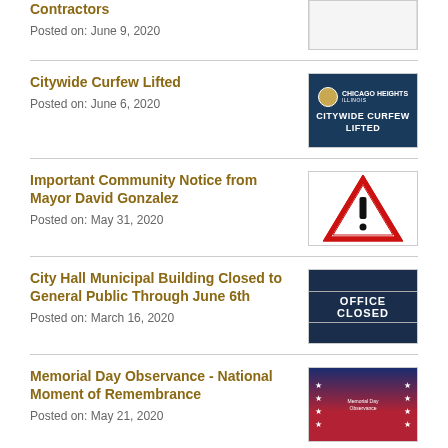Contractors
Posted on: June 9, 2020
Citywide Curfew Lifted
Posted on: June 6, 2020
Important Community Notice from Mayor David Gonzalez
Posted on: May 31, 2020
City Hall Municipal Building Closed to General Public Through June 6th
Posted on: March 16, 2020
Memorial Day Observance - National Moment of Remembrance
Posted on: May 21, 2020
Please Join Us for Another Free Face Mask Giveaway at City Hall